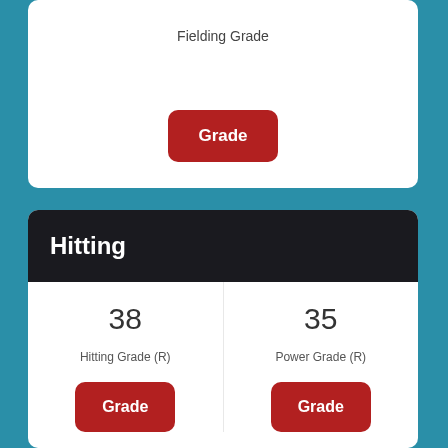Fielding Grade
Grade
Hitting
38
35
Hitting Grade (R)
Power Grade (R)
Grade
Grade